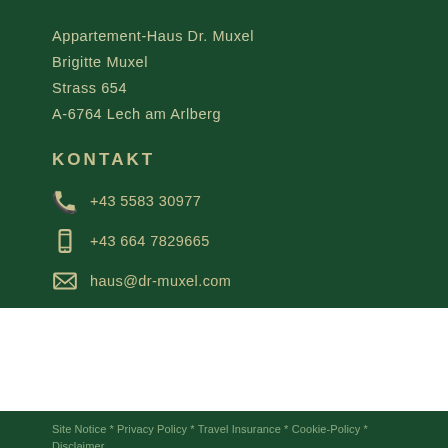Appartement-Haus Dr. Muxel
Brigitte Muxel
Strass 654
A-6764 Lech am Arlberg
KONTAKT
+43 5583 30977
+43 664 7829665
haus@dr-muxel.com
Site Notice * Privacy Policy * Travel Insurance * Cookie-Policy * Disclaimer